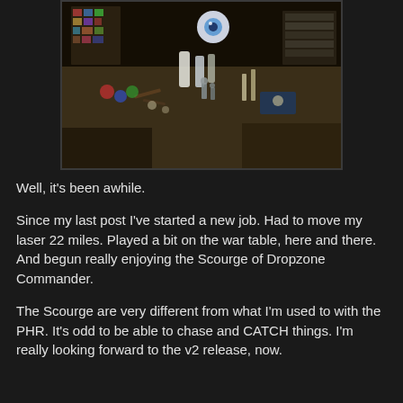[Figure (photo): A messy workshop/hobby desk covered with miniatures, tools, paints, bottles, and various hobby supplies viewed from above]
Well, it's been awhile.
Since my last post I've started a new job.  Had to move my laser 22 miles.  Played a bit on the war table, here and there.  And begun really enjoying the Scourge of Dropzone Commander.
The Scourge are very different from what I'm used to with the PHR.  It's odd to be able to chase and CATCH things.  I'm really looking forward to the v2 release, now.